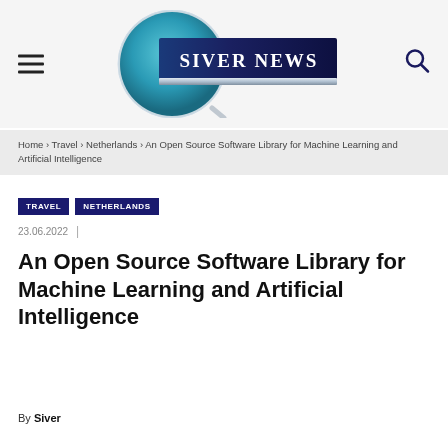[Figure (logo): Siver News logo: a circular magnifying glass shape with teal/blue gradient background and 'SIVER NEWS' text in white bold serif font, with a dark navy blue rectangular banner behind the text and a silver/metallic accent strip below.]
Home › Travel › Netherlands › An Open Source Software Library for Machine Learning and Artificial Intelligence
TRAVEL   NETHERLANDS
23.06.2022  |
An Open Source Software Library for Machine Learning and Artificial Intelligence
By Siver